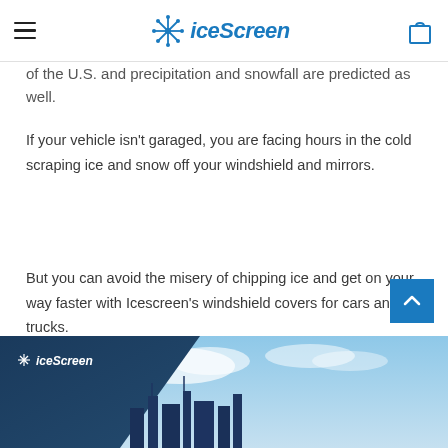iceScreen
of the U.S. and precipitation and snowfall are predicted as well.
If your vehicle isn't garaged, you are facing hours in the cold scraping ice and snow off your windshield and mirrors.
But you can avoid the misery of chipping ice and get on your way faster with Icescreen's windshield covers for cars and trucks.
[Figure (photo): IceScreen product photo showing city skyline with blue sky and IceScreen logo in upper left corner on a dark banner]